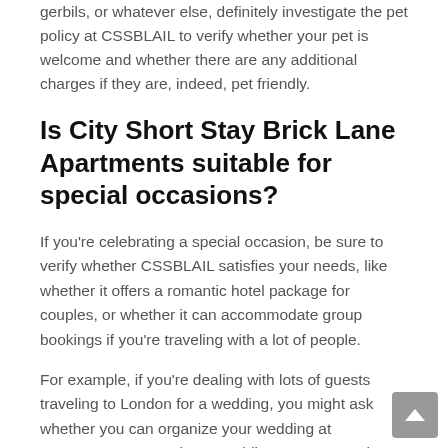gerbils, or whatever else, definitely investigate the pet policy at CSSBLAIL to verify whether your pet is welcome and whether there are any additional charges if they are, indeed, pet friendly.
Is City Short Stay Brick Lane Apartments suitable for special occasions?
If you're celebrating a special occasion, be sure to verify whether CSSBLAIL satisfies your needs, like whether it offers a romantic hotel package for couples, or whether it can accommodate group bookings if you're traveling with a lot of people.
For example, if you're dealing with lots of guests traveling to London for a wedding, you might ask whether you can organize your wedding at CSSBLAIL65026 or have wedding guests stay there, as well as whether there's a penthouse or executive suite